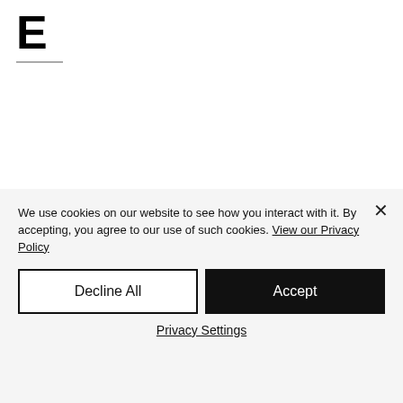E
We use cookies on our website to see how you interact with it. By accepting, you agree to our use of such cookies. View our Privacy Policy
Decline All
Accept
Privacy Settings